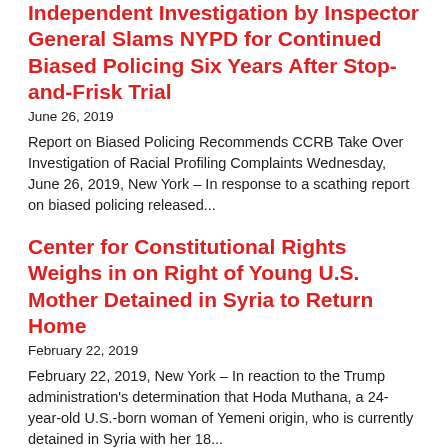Independent Investigation by Inspector General Slams NYPD for Continued Biased Policing Six Years After Stop-and-Frisk Trial
June 26, 2019
Report on Biased Policing Recommends CCRB Take Over Investigation of Racial Profiling Complaints Wednesday, June 26, 2019, New York – In response to a scathing report on biased policing released...
Center for Constitutional Rights Weighs in on Right of Young U.S. Mother Detained in Syria to Return Home
February 22, 2019
February 22, 2019, New York – In reaction to the Trump administration's determination that Hoda Muthana, a 24-year-old U.S.-born woman of Yemeni origin, who is currently detained in Syria with her 18...
Center for Constitutional Rights We...